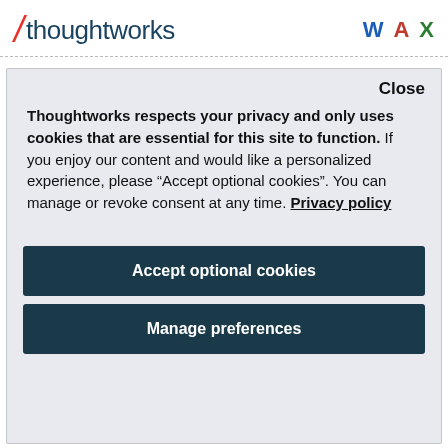/thoughtworks W A X
Table of Contents
Close
Thoughtworks respects your privacy and only uses cookies that are essential for this site to function. If you enjoy our content and would like a personalized experience, please “Accept optional cookies”. You can manage or revoke consent at any time. Privacy policy
Accept optional cookies
Manage preferences